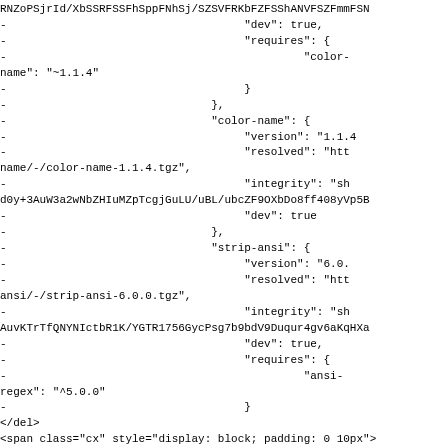code block showing JSON diff with color-name and strip-ansi package entries, plus HTML span elements at bottom